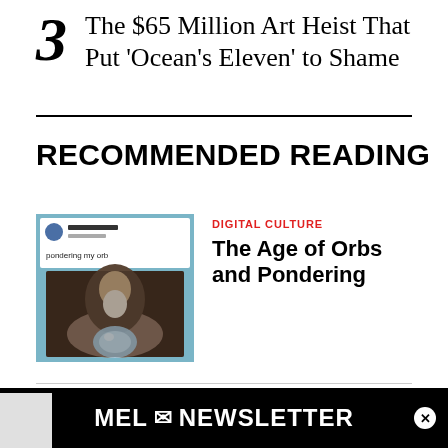3 The $65 Million Art Heist That Put ‘Ocean’s Eleven’ to Shame
RECOMMENDED READING
[Figure (screenshot): Screenshot of a social media post reading 'pondering my orb' with an image of a wizard-like figure holding a crystal ball, styled in dark tones]
DIGITAL CULTURE
The Age of Orbs and Pondering
[Figure (other): MEL Newsletter advertisement banner in black with white text reading MEL NEWSLETTER]